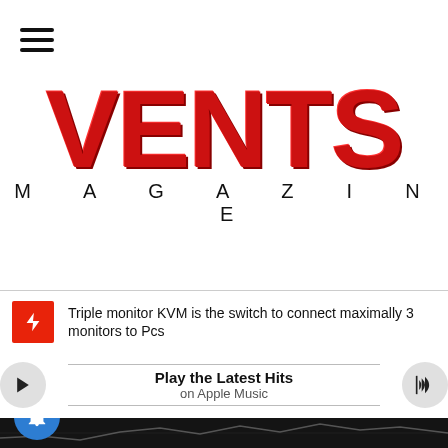[Figure (logo): VENTS MAGAZINE logo with large red VENTS text and black MAGAZINE subtitle beneath]
Triple monitor KVM is the switch to connect maximally 3 monitors to Pcs
Play the Latest Hits
on Apple Music
[Figure (photo): Dark photo of a stock market trading screen showing financial charts and candlestick data]